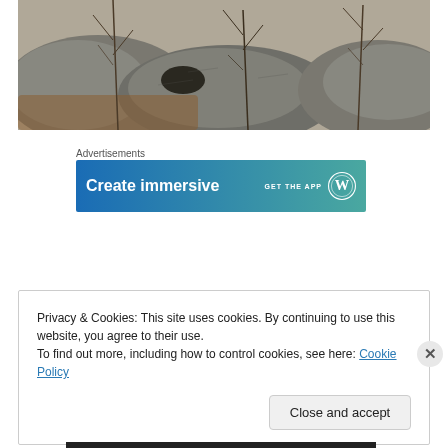[Figure (photo): Photograph of large rocks and boulders with bare branches and dry vegetation in a natural outdoor setting, taken in winter or early spring.]
Advertisements
[Figure (screenshot): Advertisement banner with blue-green gradient background showing text 'Create immersive' in white bold font, with 'GET THE APP' text and WordPress logo on the right side.]
Privacy & Cookies: This site uses cookies. By continuing to use this website, you agree to their use.
To find out more, including how to control cookies, see here: Cookie Policy
Close and accept